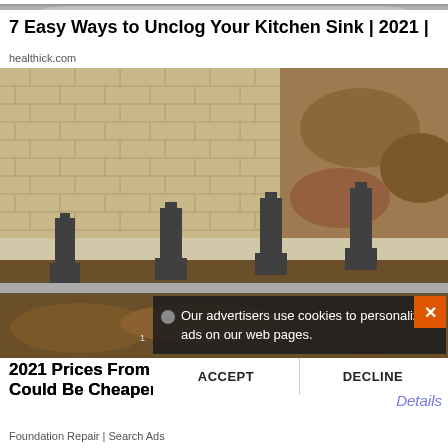[Figure (photo): Partial view of a chrome sink drain/fixture at the top of the page]
7 Easy Ways to Unclog Your Kitchen Sink | 2021 |
healthick.com
[Figure (photo): Construction photo showing foundation repair work with concrete block wall, steel piers/helical anchors installed along the base of a brick/stone retaining wall, with excavated earth trench visible]
Our advertisers use cookies to personalize ads on our web pages.
ACCEPT   DECLINE
2021 Prices From Foundation Repair Contractors Could Be Cheaper Than You T
Details
Foundation Repair | Search Ads